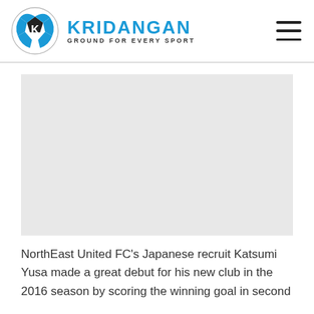KRIDANGAN — GROUND FOR EVERY SPORT
[Figure (photo): Large image placeholder (gray rectangle) showing a sports article photo area]
NorthEast United FC's Japanese recruit Katsumi Yusa made a great debut for his new club in the 2016 season by scoring the winning goal in second